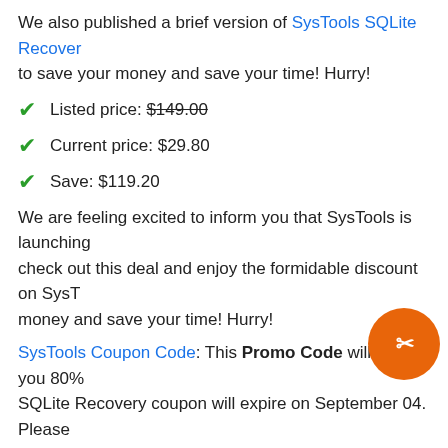We also published a brief version of SysTools SQLite Recovery to save your money and save your time! Hurry!
Listed price: $149.00
Current price: $29.80
Save: $119.20
We are feeling excited to inform you that SysTools is launching check out this deal and enjoy the formidable discount on SysT money and save your time! Hurry!
SysTools Coupon Code: This Promo Code will save you 80% SQLite Recovery coupon will expire on September 04. Please
About SysTools SQLite Recovery
SysTools SQLite Recovery coupon discount promotion 80